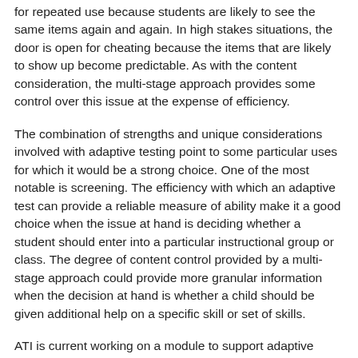for repeated use because students are likely to see the same items again and again. In high stakes situations, the door is open for cheating because the items that are likely to show up become predictable. As with the content consideration, the multi-stage approach provides some control over this issue at the expense of efficiency.
The combination of strengths and unique considerations involved with adaptive testing point to some particular uses for which it would be a strong choice. One of the most notable is screening. The efficiency with which an adaptive test can provide a reliable measure of ability make it a good choice when the issue at hand is deciding whether a student should enter into a particular instructional group or class. The degree of content control provided by a multi-stage approach could provide more granular information when the decision at hand is whether a child should be given additional help on a specific skill or set of skills.
ATI is current working on a module to support adaptive testing. The module will support the the item by item and multi-stage approaches. Provision of these options will allow